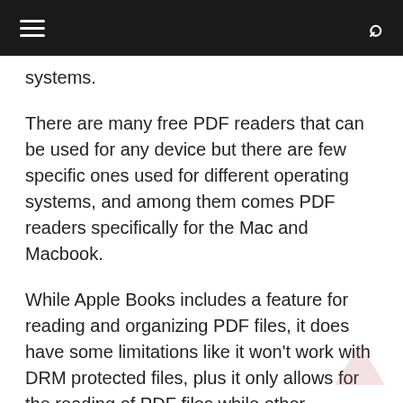≡  🔍
systems.
There are many free PDF readers that can be used for any device but there are few specific ones used for different operating systems, and among them comes PDF readers specifically for the Mac and Macbook.
While Apple Books includes a feature for reading and organizing PDF files, it does have some limitations like it won't work with DRM protected files, plus it only allows for the reading of PDF files while other software can allow for the editing, annotating, and even e-signing of PDF documents. There are also document scanning apps available for working with PDF files. Thus if you want to do more with PDF files on your Mac or Macbook, you'll